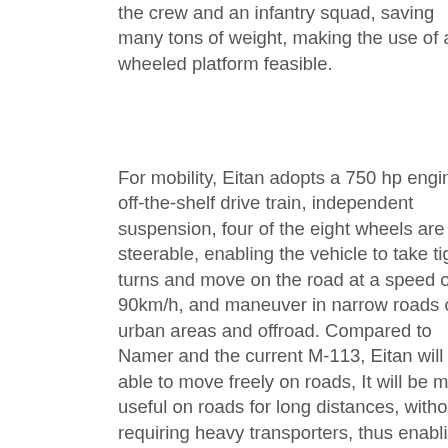the crew and an infantry squad, saving many tons of weight, making the use of a wheeled platform feasible.
For mobility, Eitan adopts a 750 hp engine, off-the-shelf drive train, independent suspension, four of the eight wheels are steerable, enabling the vehicle to take tight turns and move on the road at a speed of 90km/h, and maneuver in narrow roads of urban areas and offroad. Compared to Namer and the current M-113, Eitan will be able to move freely on roads, It will be more useful on roads for long distances, without requiring heavy transporters, thus enabling more agile movements across the country. They will also be more maneuverable in urban terrain, where heavy vehicles cannot easily maneuver.
The prototypes used for testing carry one remotely operated weapon station but production models will integrate an unmanned overhead